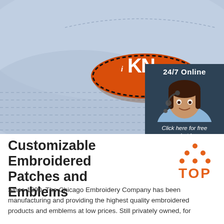[Figure (photo): Close-up of a light blue/grey baseball cap with an embroidered orange patch reading 'i KNOW' with black dashed stitching border. A chat widget overlay shows '24/7 Online', a female customer service agent with headset, 'Click here for free chat!' text, and an orange QUOTATION button.]
Customizable Embroidered Patches and Emblems
[Figure (logo): Orange TOP logo with triangular dots above the word TOP in orange bold letters]
Since 1890, The Chicago Embroidery Company has been manufacturing and providing the highest quality embroidered products and emblems at low prices. Still privately owned, for